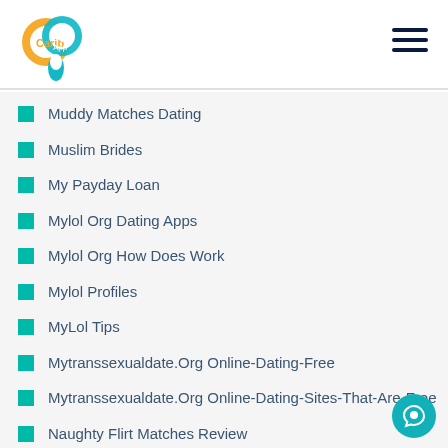Carib Pay App
Muddy Matches Dating
Muslim Brides
My Payday Loan
Mylol Org Dating Apps
Mylol Org How Does Work
Mylol Profiles
MyLol Tips
Mytranssexualdate.Org Online-Dating-Free
Mytranssexualdate.Org Online-Dating-Sites-That-Are-Free
Naughty Flirt Matches Review